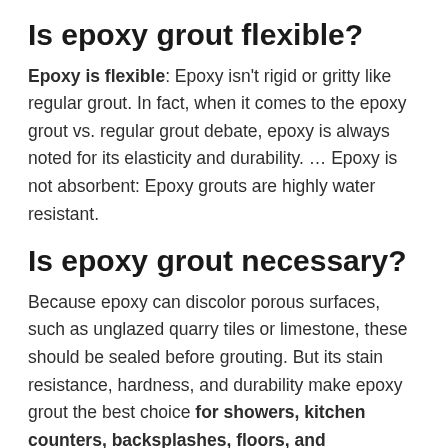Is epoxy grout flexible?
Epoxy is flexible: Epoxy isn't rigid or gritty like regular grout. In fact, when it comes to the epoxy grout vs. regular grout debate, epoxy is always noted for its elasticity and durability. … Epoxy is not absorbent: Epoxy grouts are highly water resistant.
Is epoxy grout necessary?
Because epoxy can discolor porous surfaces, such as unglazed quarry tiles or limestone, these should be sealed before grouting. But its stain resistance, hardness, and durability make epoxy grout the best choice for showers, kitchen counters, backsplashes, floors, and